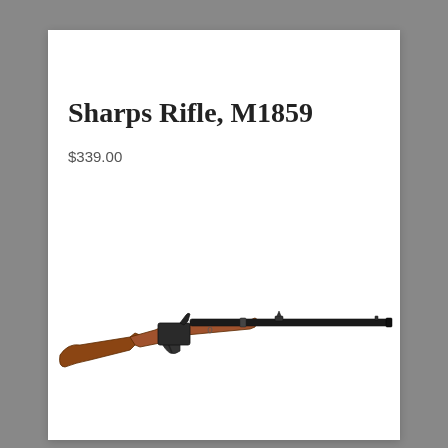Sharps Rifle, M1859
$339.00
[Figure (photo): A Sharps Rifle Model 1859 with wooden stock and long dark metal barrel, shown in profile against a white background.]